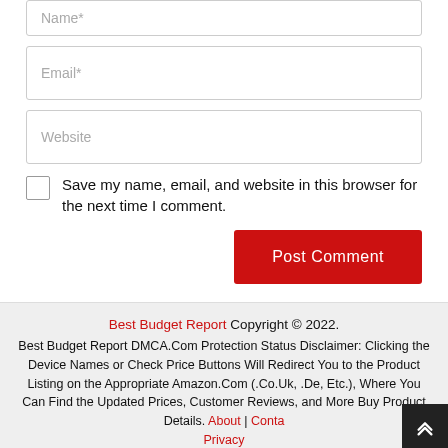Name*
Email*
Website
Save my name, email, and website in this browser for the next time I comment.
Post Comment
Best Budget Report Copyright © 2022. Best Budget Report DMCA.Com Protection Status Disclaimer: Clicking the Device Names or Check Price Buttons Will Redirect You to the Product Listing on the Appropriate Amazon.Com (.Co.Uk, .De, Etc.), Where You Can Find the Updated Prices, Customer Reviews, and More Buy Product Details. About | Contact | Privacy